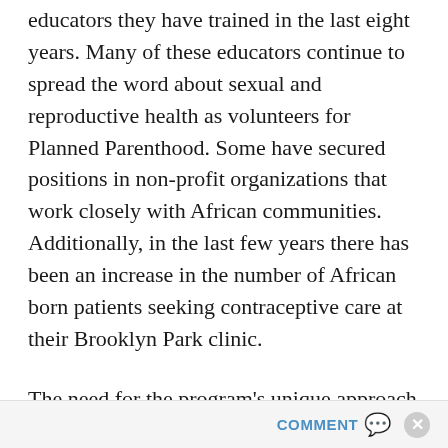educators they have trained in the last eight years. Many of these educators continue to spread the word about sexual and reproductive health as volunteers for Planned Parenthood. Some have secured positions in non-profit organizations that work closely with African communities. Additionally, in the last few years there has been an increase in the number of African born patients seeking contraceptive care at their Brooklyn Park clinic.

The need for the program's unique approach remains strong. The 2010 data from the MDH indicates that there continue to be disparities in rates of HIV infection in persons who are African-born. They make
COMMENT ✉ ✕